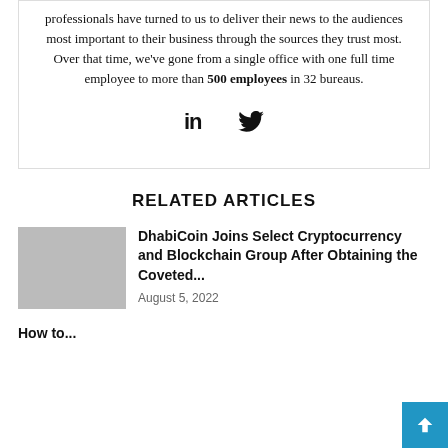professionals have turned to us to deliver their news to the audiences most important to their business through the sources they trust most. Over that time, we've gone from a single office with one full time employee to more than 500 employees in 32 bureaus.
[Figure (illustration): LinkedIn and Twitter social media icons]
RELATED ARTICLES
DhabiCoin Joins Select Cryptocurrency and Blockchain Group After Obtaining the Coveted...
August 5, 2022
How to...